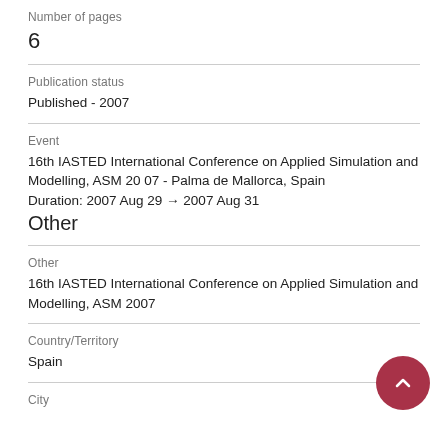Number of pages
6
Publication status
Published - 2007
Event
16th IASTED International Conference on Applied Simulation and Modelling, ASM 2007 - Palma de Mallorca, Spain
Duration: 2007 Aug 29 → 2007 Aug 31
Other
Other
16th IASTED International Conference on Applied Simulation and Modelling, ASM 2007
Country/Territory
Spain
City